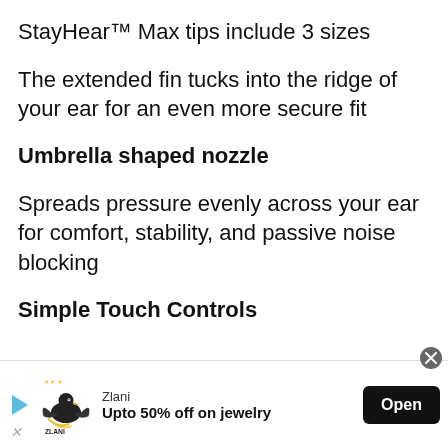StayHear™ Max tips include 3 sizes
The extended fin tucks into the ridge of your ear for an even more secure fit
Umbrella shaped nozzle
Spreads pressure evenly across your ear for comfort, stability, and passive noise blocking
Simple Touch Controls
[Figure (other): Advertisement banner for Zlani jewelry: logo with eagle graphic, text 'Upto 50% off on jewelry', and an Open button]